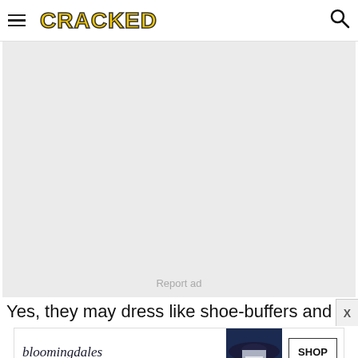CRACKED
[Figure (other): Gray advertisement placeholder box with 'Report ad' text centered near bottom]
Yes, they may dress like shoe-buffers and Victorian-e
[Figure (other): Bloomingdale's advertisement banner with woman in large hat, text: View Today's Top Deals!, SHOP NOW >]